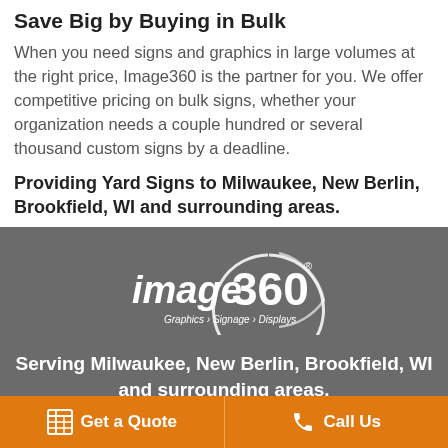Save Big by Buying in Bulk
When you need signs and graphics in large volumes at the right price, Image360 is the partner for you. We offer competitive pricing on bulk signs, whether your organization needs a couple hundred or several thousand custom signs by a deadline.
Providing Yard Signs to Milwaukee, New Berlin, Brookfield, WI and surrounding areas.
[Figure (logo): Image360 logo with tagline Graphics > Signage > Displays on dark gray background]
Serving Milwaukee, New Berlin, Brookfield, WI and surrounding areas.
Get a Quote   Call Us